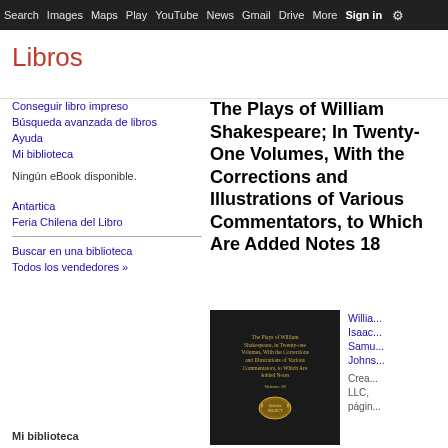Search  Images  Maps  Play  YouTube  News  Gmail  Drive  More  Sign in  ⚙
Libros
Conseguir libro impreso
Búsqueda avanzada de libros
Ayuda
Mi biblioteca
Ningún eBook disponible.
Antartica
Feria Chilena del Libro
Buscar en una biblioteca
Todos los vendedores »
Mi biblioteca
The Plays of William Shakespeare; In Twenty-One Volumes, With the Corrections and Illustrations of Various Commentators, to Which Are Added Notes 18
[Figure (photo): Book cover of The Plays of William Shakespeare in Twenty-one Volumes, With the Corrections and Illustrations of Various Commentators, to Which Are Added Notes, Volume 18. Black cover with gold text and Scholar Select seal.]
William Isaac Samuel Johns... Crea... LLC, págin...